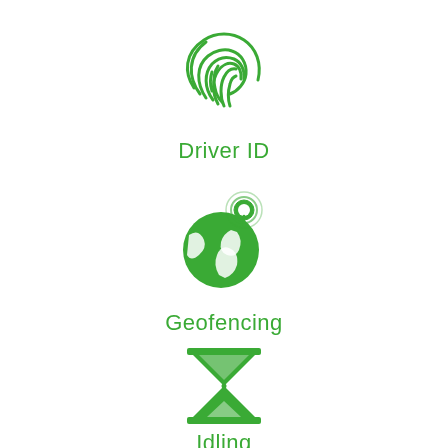[Figure (illustration): Green fingerprint icon representing Driver ID]
Driver ID
[Figure (illustration): Green globe with map lines and location pin icon representing Geofencing]
Geofencing
[Figure (illustration): Green hourglass icon representing Idling]
Idling